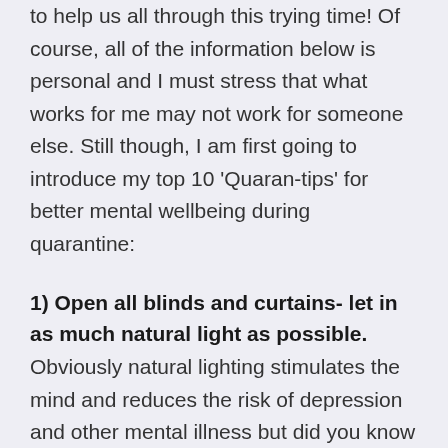to help us all through this trying time! Of course, all of the information below is personal and I must stress that what works for me may not work for someone else. Still though, I am first going to introduce my top 10 'Quaran-tips' for better mental wellbeing during quarantine:
1) Open all blinds and curtains- let in as much natural light as possible. Obviously natural lighting stimulates the mind and reduces the risk of depression and other mental illness but did you know that exposure to vitamin D also improves your sleep and reduces the risk of heart disease, weight gain and various cancers.